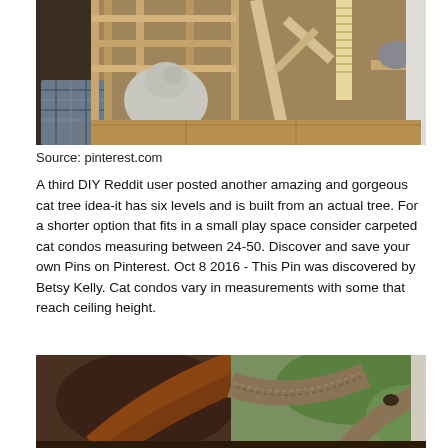[Figure (photo): A wooden DIY cat tree/condo structure with a cat resting inside, built from wooden pallets and branches with rope scratching post. The structure sits on a wooden floor.]
Source: pinterest.com
A third DIY Reddit user posted another amazing and gorgeous cat tree idea-it has six levels and is built from an actual tree. For a shorter option that fits in a small play space consider carpeted cat condos measuring between 24-50. Discover and save your own Pins on Pinterest. Oct 8 2016 - This Pin was discovered by Betsy Kelly. Cat condos vary in measurements with some that reach ceiling height.
[Figure (photo): Close-up photo of a cat tree built from a real tree trunk and branches, with rope/sisal wrapping on the branches, positioned near a window with greenery visible outside.]